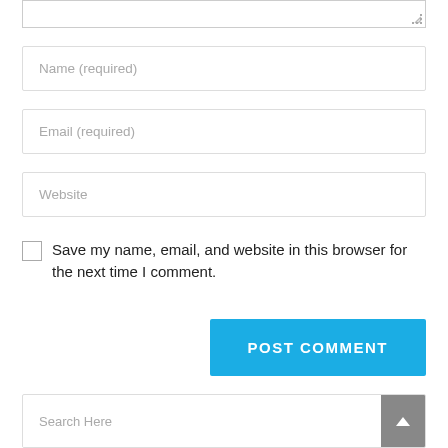[Figure (screenshot): Bottom portion of a comment form with a partially visible textarea at the top, followed by Name (required), Email (required), and Website input fields, a save checkbox with label, a POST COMMENT button, and a Search Here search bar at the bottom.]
Name (required)
Email (required)
Website
Save my name, email, and website in this browser for the next time I comment.
POST COMMENT
Search Here